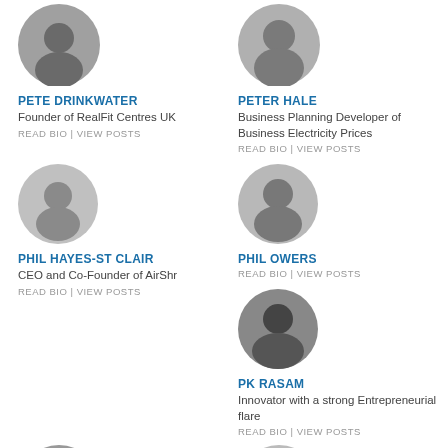[Figure (photo): Circular headshot of Pete Drinkwater]
PETE DRINKWATER
Founder of RealFit Centres UK
READ BIO | VIEW POSTS
[Figure (photo): Circular headshot of Peter Hale]
PETER HALE
Business Planning Developer of Business Electricity Prices
READ BIO | VIEW POSTS
[Figure (photo): Circular headshot of Phil Hayes-St Clair]
PHIL HAYES-ST CLAIR
CEO and Co-Founder of AirShr
READ BIO | VIEW POSTS
[Figure (photo): Circular headshot of Phil Owers]
PHIL OWERS
READ BIO | VIEW POSTS
[Figure (photo): Circular headshot of PK Rasam]
PK RASAM
Innovator with a strong Entrepreneurial flare
READ BIO | VIEW POSTS
[Figure (photo): Partial circular headshot at bottom left]
[Figure (photo): Partial circular headshot at bottom right]